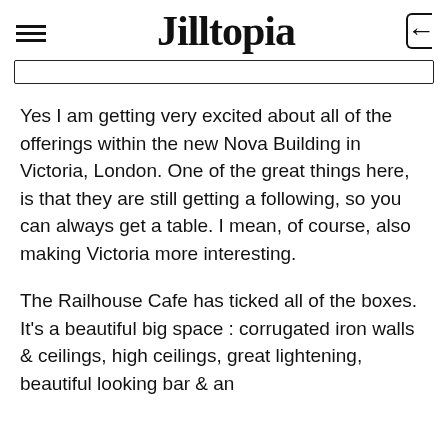Jilltopia
Yes I am getting very excited about all of the offerings within the new Nova Building in Victoria, London. One of the great things here, is that they are still getting a following, so you can always get a table. I mean, of course, also making Victoria more interesting.
The Railhouse Cafe has ticked all of the boxes. It's a beautiful big space : corrugated iron walls & ceilings, high ceilings, great lightening, beautiful looking bar & an